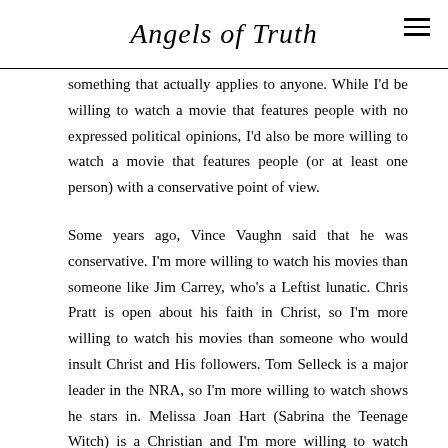Angels of Truth
something that actually applies to anyone. While I'd be willing to watch a movie that features people with no expressed political opinions, I'd also be more willing to watch a movie that features people (or at least one person) with a conservative point of view.
Some years ago, Vince Vaughn said that he was conservative. I'm more willing to watch his movies than someone like Jim Carrey, who's a Leftist lunatic. Chris Pratt is open about his faith in Christ, so I'm more willing to watch his movies than someone who would insult Christ and His followers. Tom Selleck is a major leader in the NRA, so I'm more willing to watch shows he stars in. Melissa Joan Hart (Sabrina the Teenage Witch) is a Christian and I'm more willing to watch movies and